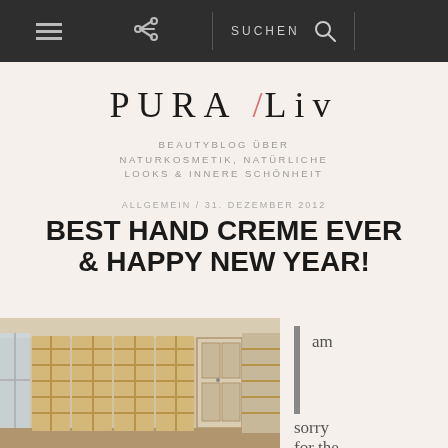≡  ↗  SUCHEN 🔍
PURA /Liv
BEAUTYBLOG ÜBER NATURKOSMETIK, NATÜRLICHE LOOKS & INNERE SCHÖNHEIT
ALLGEMEIN / 31. DEZEMBER 2012
BEST HAND CREME EVER & HAPPY NEW YEAR!
[Figure (photo): Interior room with wooden shelving units covering the walls]
I am sorry for the